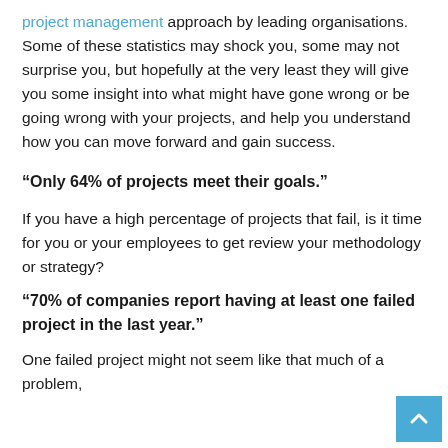project management approach by leading organisations. Some of these statistics may shock you, some may not surprise you, but hopefully at the very least they will give you some insight into what might have gone wrong or be going wrong with your projects, and help you understand how you can move forward and gain success.
"Only 64% of projects meet their goals."
If you have a high percentage of projects that fail, is it time for you or your employees to get review your methodology or strategy?
"70% of companies report having at least one failed project in the last year."
One failed project might not seem like that much of a problem,